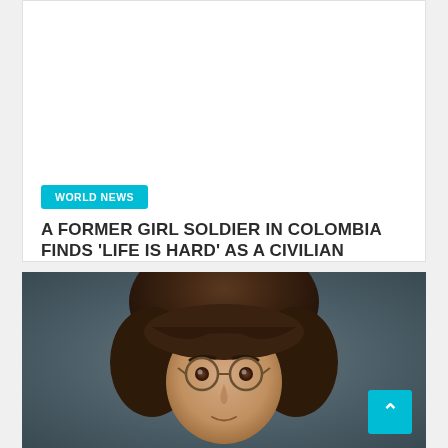WORLD NEWS
A FORMER GIRL SOLDIER IN COLOMBIA FINDS ‘LIFE IS HARD’ AS A CIVILIAN
[Figure (photo): Portrait photo of a person with short dark brown hair and round glasses, looking forward against a gray background]